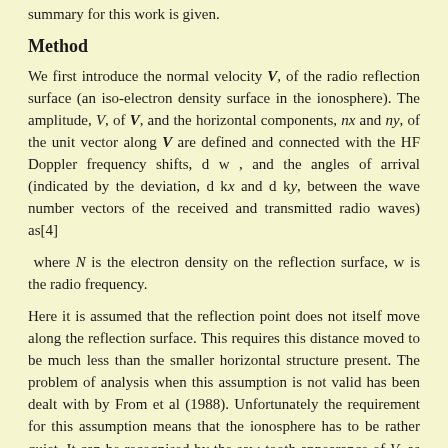summary for this work is given.
Method
We first introduce the normal velocity V, of the radio reflection surface (an iso-electron density surface in the ionosphere). The amplitude, V, of V, and the horizontal components, nx and ny, of the unit vector along V are defined and connected with the HF Doppler frequency shifts, d w , and the angles of arrival (indicated by the deviation, d kx and d ky, between the wave number vectors of the received and transmitted radio waves) as[4]
where N is the electron density on the reflection surface, w is the radio frequency.
Here it is assumed that the reflection point does not itself move along the reflection surface. This requires this distance moved to be much less than the smaller horizontal structure present. The problem of analysis when this assumption is not valid has been dealt with by From et al (1988). Unfortunately the requirement for this assumption means that the ionosphere has to be rather quiet. It can be recognised by the saw-tooth appearance of V, as a function of time, and is clearly